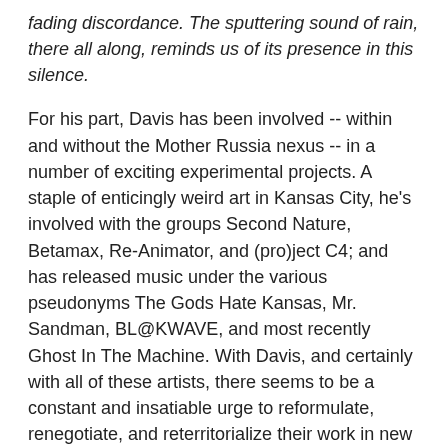fading discordance. The sputtering sound of rain, there all along, reminds us of its presence in this silence.
For his part, Davis has been involved -- within and without the Mother Russia nexus -- in a number of exciting experimental projects. A staple of enticingly weird art in Kansas City, he's involved with the groups Second Nature, Betamax, Re-Animator, and (pro)ject C4; and has released music under the various pseudonyms The Gods Hate Kansas, Mr. Sandman, BL@KWAVE, and most recently Ghost In The Machine. With Davis, and certainly with all of these artists, there seems to be a constant and insatiable urge to reformulate, renegotiate, and reterritorialize their work in new ways -- with new people and new ideas. This urge, this explosive tendency, has been active in Kansas City for a long time -- to this point mostly forming subterranean conjunctions, unlikely creative connections, within the DIY music scene. The emanations arising from these connections have been brilliant: I'm thinking specifically of the incredibly dynamic lineups offered by Awful Fest, but also the smaller moments of genre